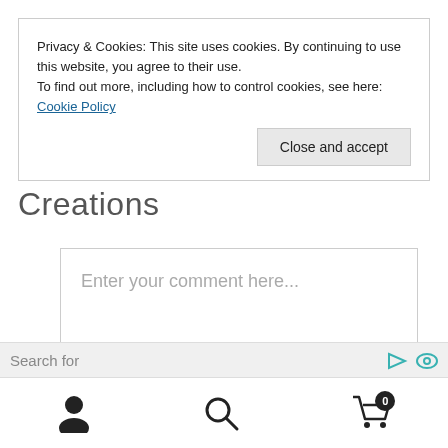Privacy & Cookies: This site uses cookies. By continuing to use this website, you agree to their use. To find out more, including how to control cookies, see here: Cookie Policy
Close and accept
Creations
Enter your comment here...
This site uses Akismet to reduce spam. Learn how your comment data is processed.
Search for